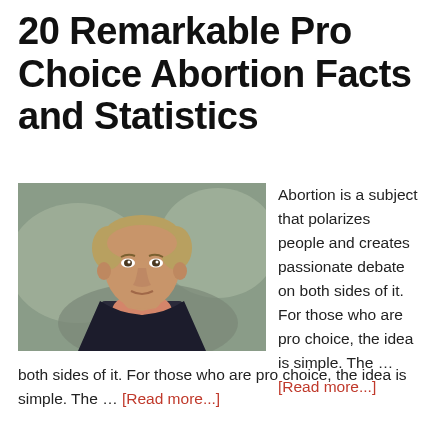20 Remarkable Pro Choice Abortion Facts and Statistics
[Figure (photo): Photograph of a middle-aged man in a dark suit jacket and salmon/pink shirt, looking slightly to the side, against a blurred outdoor background.]
Abortion is a subject that polarizes people and creates passionate debate on both sides of it. For those who are pro choice, the idea is simple. The … [Read more...]